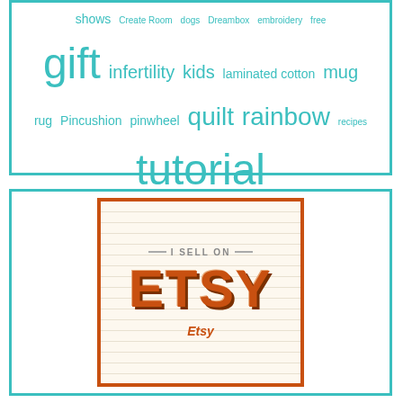[Figure (infographic): Tag cloud with teal/turquoise colored words of varying sizes inside a teal border box. Words include: shows, Create Room, dogs, Dreambox, embroidery, free, gift, infertility, kids, laminated cotton, mug, rug, Pincushion, pinwheel, quilt, rainbow, recipes, tutorial]
[Figure (logo): I Sell On Etsy badge/logo inside an orange border box with lined background. Shows equals signs, 'I SELL ON' text, and large styled ETSY text in orange with 3D shadow effect. Caption 'Etsy' below.]